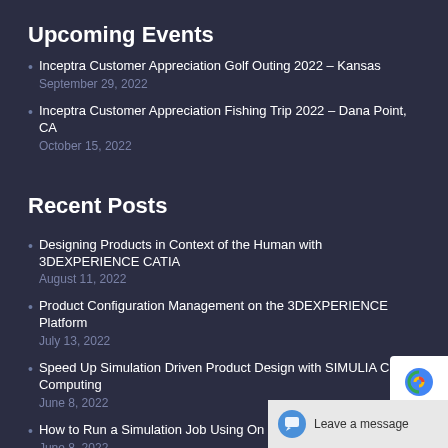Upcoming Events
Inceptra Customer Appreciation Golf Outing 2022 – Kansas
September 29, 2022
Inceptra Customer Appreciation Fishing Trip 2022 – Dana Point, CA
October 15, 2022
Recent Posts
Designing Products in Context of the Human with 3DEXPERIENCE CATIA
August 11, 2022
Product Configuration Management on the 3DEXPERIENCE Platform
July 13, 2022
Speed Up Simulation Driven Product Design with SIMULIA Cloud Computing
June 8, 2022
How to Run a Simulation Job Using On Cloud SIMULIA SimUnits
June 8, 2022
The Evolution of Model-Based Systems Engineering in Product Development
May 11, 2022